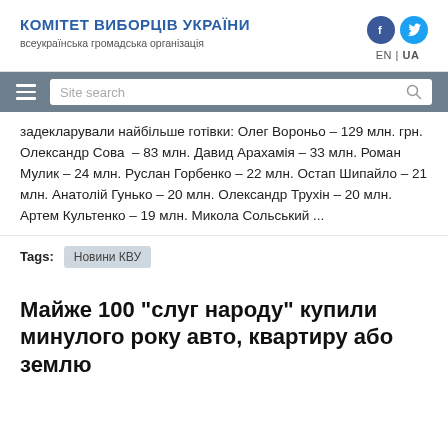КОМІТЕТ ВИБОРЦІВ УКРАЇНИ
всеукраїнська громадська організація
задекларували найбільше готівки: Олег Вороньо – 129 млн. грн. Олександр Сова – 83 млн. Давид Арахамія – 33 млн. Роман Мулик – 24 млн. Руслан Горбенко – 22 млн. Остап Шипайло – 21 млн. Анатолій Гунько – 20 млн. Олександр Трухін – 20 млн. Артем Культенко – 19 млн. Микола Сольський ...
Tags: Новини КВУ
Майже 100 "слуг народу" купили минулого року авто, квартиру або землю